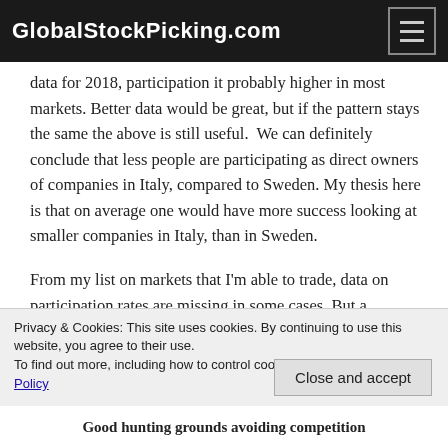GlobalStockPicking.com
data for 2018, participation it probably higher in most markets. Better data would be great, but if the pattern stays the same the above is still useful. We can definitely conclude that less people are participating as direct owners of companies in Italy, compared to Sweden. My thesis here is that on average one would have more success looking at smaller companies in Italy, than in Sweden.
From my list on markets that I'm able to trade, data on participation rates are missing in some cases. But a
Privacy & Cookies: This site uses cookies. By continuing to use this website, you agree to their use.
To find out more, including how to control cookies, see here: Cookie Policy
Close and accept
Good hunting grounds avoiding competition